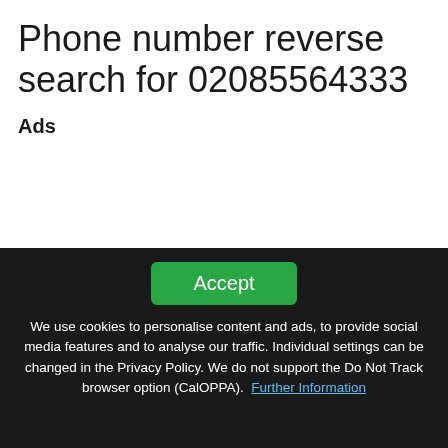Phone number reverse search for 02085564333
Ads
We use cookies to personalise content and ads, to provide social media features and to analyse our traffic. Individual settings can be changed in the Privacy Policy. We do not support the Do Not Track browser option (CalOPPA). Further Information